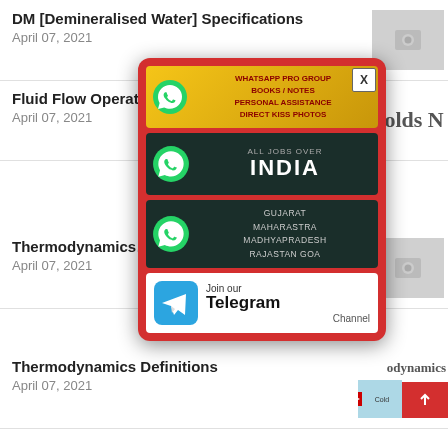DM [Demineralised Water] Specifications
April 07, 2021
Fluid Flow Operations ... nolds N
April 07, 2021
[Figure (screenshot): Popup advertisement overlay with red background containing: WhatsApp PRO GROUP / BOOKS/NOTES / PERSONAL ASSISTANCE / DIRECT KISS PHOTOS banner; ALL JOBS OVER INDIA WhatsApp banner; GUJARAT MAHARASTRA MADHYAPRADESH RAJASTAN GOA WhatsApp banner; Join our Telegram Channel banner. Close button (X) in top right.]
Thermodynamics ... nolds N
April 07, 2021
Thermodynamics Definitions
April 07, 2021